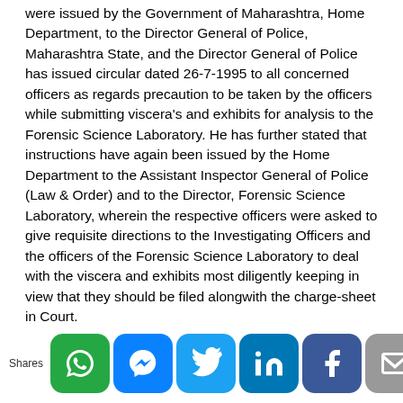were issued by the Government of Maharashtra, Home Department, to the Director General of Police, Maharashtra State, and the Director General of Police has issued circular dated 26-7-1995 to all concerned officers as regards precaution to be taken by the officers while submitting viscera's and exhibits for analysis to the Forensic Science Laboratory. He has further stated that instructions have again been issued by the Home Department to the Assistant Inspector General of Police (Law & Order) and to the Director, Forensic Science Laboratory, wherein the respective officers were asked to give requisite directions to the Investigating Officers and the officers of the Forensic Science Laboratory to deal with the viscera and exhibits most diligently keeping in view that they should be filed alongwith the charge-sheet in Court.
[Figure (infographic): Social sharing bar with icons for WhatsApp, Messenger, Twitter, LinkedIn, Facebook, Email, and a crown/bookmark icon, with a 'Shares' label on the left.]